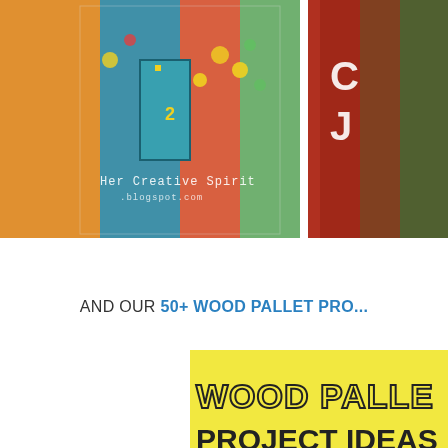[Figure (photo): Two craft art pieces shown side by side. Left: colorful painted glass bottles/jars with folk art designs including flowers, houses, with watermark text 'Her Creative Spirit .blogspot.com'. Right: painted wooden boards with hook hardware in red/brown/green tones.]
AND OUR 50+ WOOD PALLET PRO...
[Figure (illustration): Yellow banner graphic with bold text 'WOOD PALLET' in dotted/outlined font style and 'PROJECT IDEAS' in solid black, with large '50+' numeral, diagonal white and yellow stripes decoration at bottom left.]